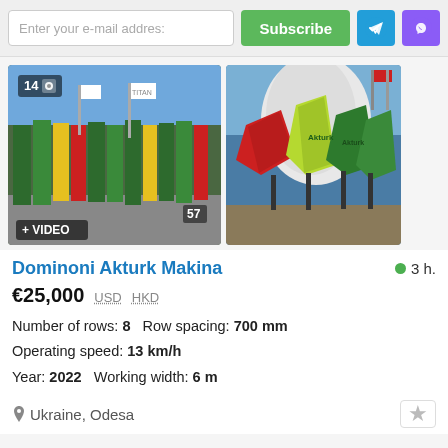Enter your e-mail address  Subscribe
[Figure (photo): Agricultural corn header attachments (green, yellow, red) lined up at an outdoor exhibition with flags and banners. Badge showing '14' photos with camera icon. '+ VIDEO' badge at bottom left.]
[Figure (photo): Close-up of colorful corn header attachments (red, green, yellow) at outdoor exhibition.]
Dominoni Akturk Makina
3 h.
€25,000  USD  HKD
Number of rows: 8  Row spacing: 700 mm
Operating speed: 13 km/h
Year: 2022  Working width: 6 m
Ukraine, Odesa